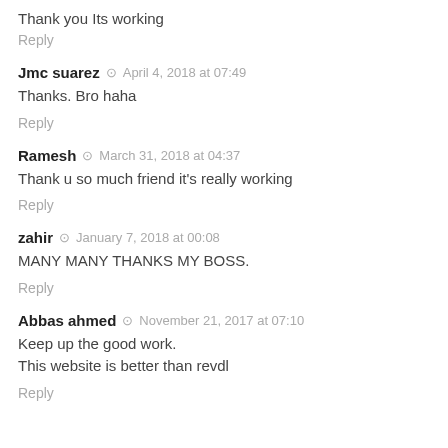Thank you Its working
Reply
Jmc suarez  April 4, 2018 at 07:49
Thanks. Bro haha
Reply
Ramesh  March 31, 2018 at 04:37
Thank u so much friend it's really working
Reply
zahir  January 7, 2018 at 00:08
MANY MANY THANKS MY BOSS.
Reply
Abbas ahmed  November 21, 2017 at 07:10
Keep up the good work.
This website is better than revdl
Reply